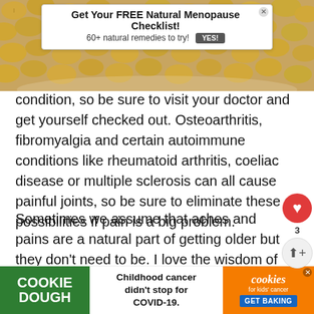[Figure (photo): Background photo of soy beans/seeds in a bowl, yellowish-beige color]
[Figure (infographic): Top banner advertisement: 'Get Your FREE Natural Menopause Checklist! 60+ natural remedies to try! YES!' with close X button]
condition, so be sure to visit your doctor and get yourself checked out. Osteoarthritis, fibromyalgia and certain autoimmune conditions like rheumatoid arthritis, coeliac disease or multiple sclerosis can all cause painful joints, so be sure to eliminate these as possibilities if pain is a big problem.
Sometimes we assume that aches and pains are a natural part of getting older but they don't need to be. I love the wisdom of Ashton Applewhite, the anti-ageism campaigner when she talks about her k...
[Figure (infographic): Bottom cookie dough advertisement: 'COOKIE DOUGH' in green, 'Childhood cancer didn't stop for COVID-19.', cookies for kids cancer logo, GET BAKING button]